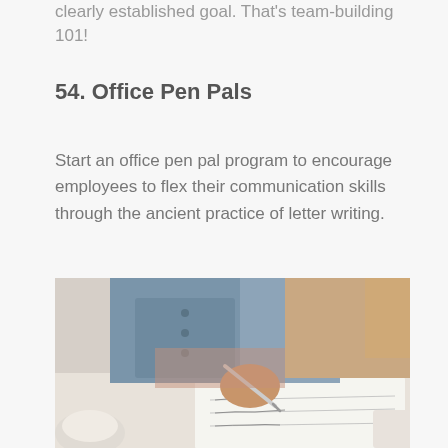clearly established goal. That's team-building 101!
54. Office Pen Pals
Start an office pen pal program to encourage employees to flex their communication skills through the ancient practice of letter writing.
[Figure (photo): Person in denim jacket writing a letter with a pen on paper at a table, with a coffee cup in the foreground]